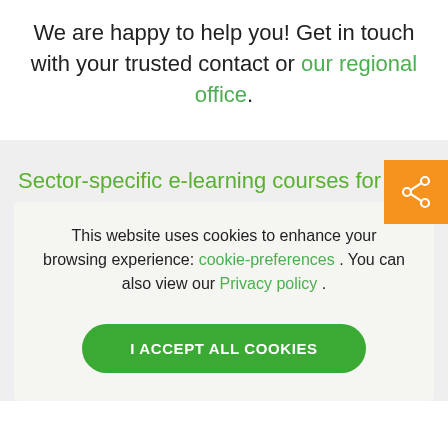We are happy to help you! Get in touch with your trusted contact or our regional office.
Sector-specific e-learning courses for yo
This website uses cookies to enhance your browsing experience: cookie-preferences . You can also view our Privacy policy .
I ACCEPT ALL COOKIES